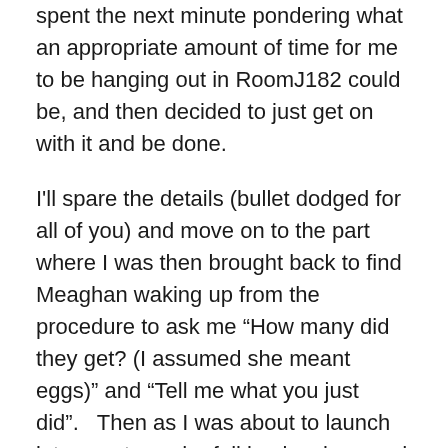spent the next minute pondering what an appropriate amount of time for me to be hanging out in RoomJ182 could be, and then decided to just get on with it and be done.
I'll spare the details (bullet dodged for all of you) and move on to the part where I was then brought back to find Meaghan waking up from the procedure to ask me “How many did they get? (I assumed she meant eggs)” and “Tell me what you just did”.   Then as I was about to launch into my story, she fell back asleep and I started looking for a nurse to talk to.  Shockingly, they all declined.
As Meaghan mentioned she had a bit of a reaction to the narcotics used to knock her out so we ended up spending a bit more time in recovery as she got some better anti-nausea drugs and started to come back around.  All in all, she handled it like a champ, and harvested more than 3x